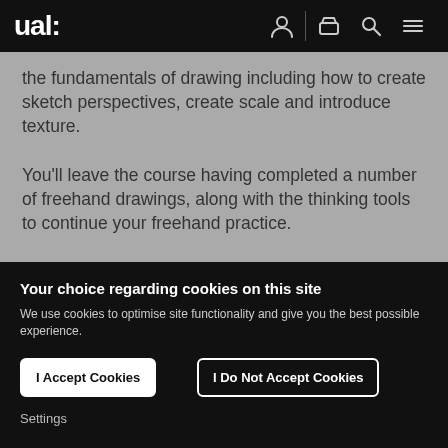ual:
the fundamentals of drawing including how to create sketch perspectives, create scale and introduce texture.

You'll leave the course having completed a number of freehand drawings, along with the thinking tools to continue your freehand practice.
Your choice regarding cookies on this site
We use cookies to optimise site functionality and give you the best possible experience.
I Accept Cookies
I Do Not Accept Cookies
Settings